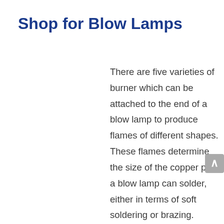Shop for Blow Lamps
There are five varieties of burner which can be attached to the end of a blow lamp to produce flames of different shapes. These flames determine the size of the copper pipe a blow lamp can solder, either in terms of soft soldering or brazing.